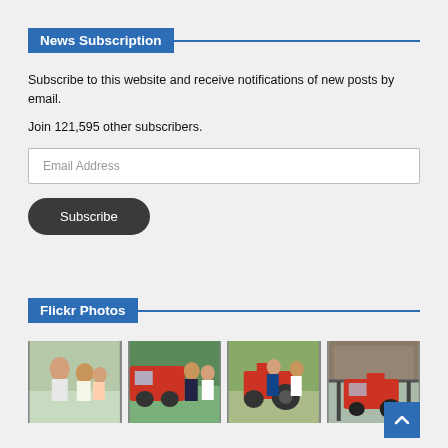News Subscription
Subscribe to this website and receive notifications of new posts by email.
Join 121,595 other subscribers.
Email Address
Subscribe
Flickr Photos
[Figure (photo): Four thumbnail photos from Flickr: people interacting outdoors, people near a red vehicle, people with a red tractor in a field, and a red tractor under a shelter.]